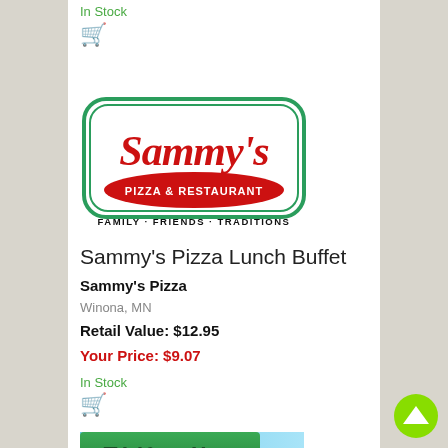In Stock
[Figure (logo): Sammy's Pizza & Restaurant logo with tagline FAMILY · FRIENDS · TRADITIONS]
Sammy's Pizza Lunch Buffet
Sammy's Pizza
Winona, MN
Retail Value: $12.95
Your Price: $9.07
In Stock
[Figure (logo): Third Street Liquor — Your Complete Party Headquarters! banner logo]